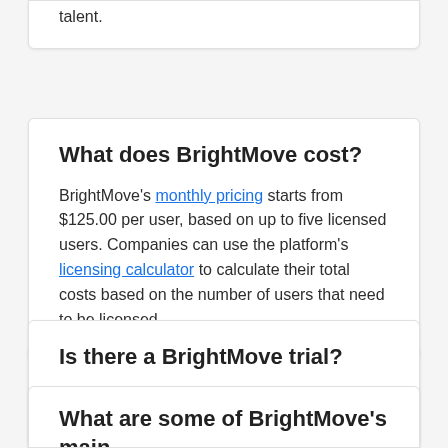talent.
What does BrightMove cost?
BrightMove's monthly pricing starts from $125.00 per user, based on up to five licensed users. Companies can use the platform's licensing calculator to calculate their total costs based on the number of users that need to be licensed.
Is there a BrightMove trial?
Yes, BrightMove offers a free trial of its software.
What are some of BrightMove's main